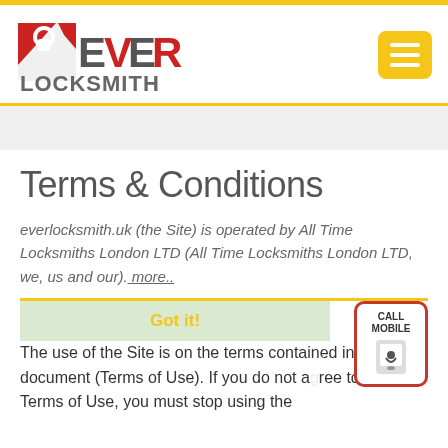[Figure (logo): Ever Locksmith logo with stylized red and grey lettering and locksmith icon]
Terms & Conditions
everlocksmith.uk (the Site) is operated by All Time Locksmiths London LTD (All Time Locksmiths London LTD, we, us and our). more..
The use of the Site is on the terms contained in this document (Terms of Use). If you do not agree to these Terms of Use, you must stop using the